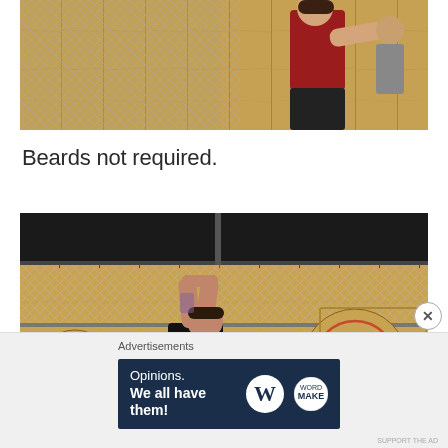[Figure (photo): Photo of a woman in a red sleeveless shirt throwing an axe in an indoor axe-throwing venue with chain-link fencing and wooden plank walls/targets in background. Another person visible behind the fence.]
Beards not required.
[Figure (photo): Photo of a man in a black shirt with tattoos raising an axe above his head to throw, inside an axe-throwing venue with multiple circular targets painted on wooden boards, chain-link fencing overhead.]
Advertisements
[Figure (other): Advertisement banner with dark navy background reading 'Opinions. We all have them!' with WordPress (W) logo and another circular logo.]